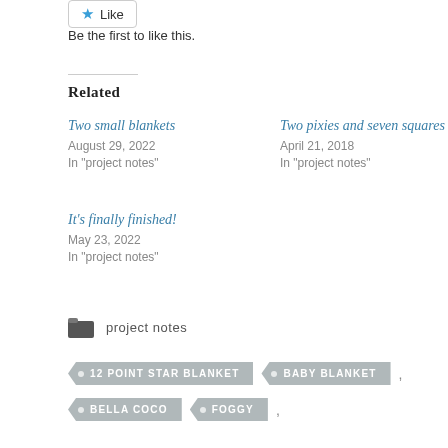[Figure (other): Like button with blue star icon and text 'Like']
Be the first to like this.
Related
Two small blankets
August 29, 2022
In "project notes"
Two pixies and seven squares
April 21, 2018
In "project notes"
It's finally finished!
May 23, 2022
In "project notes"
project notes
12 POINT STAR BLANKET
BABY BLANKET
BELLA COCO
FOGGY